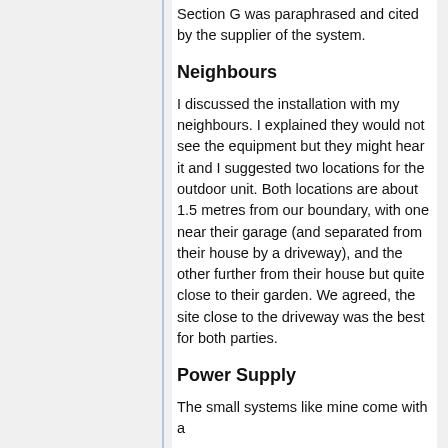Section G was paraphrased and cited by the supplier of the system.
Neighbours
I discussed the installation with my neighbours. I explained they would not see the equipment but they might hear it and I suggested two locations for the outdoor unit. Both locations are about 1.5 metres from our boundary, with one near their garage (and separated from their house by a driveway), and the other further from their house but quite close to their garden. We agreed, the site close to the driveway was the best for both parties.
Power Supply
The small systems like mine come with a